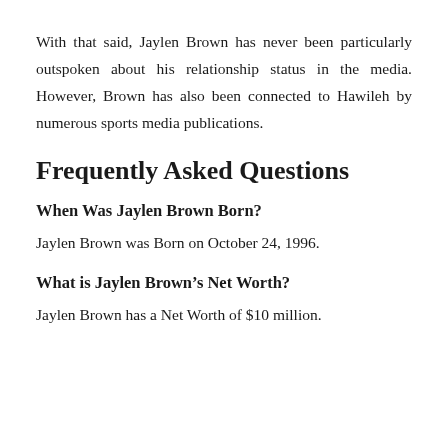With that said, Jaylen Brown has never been particularly outspoken about his relationship status in the media. However, Brown has also been connected to Hawileh by numerous sports media publications.
Frequently Asked Questions
When Was Jaylen Brown Born?
Jaylen Brown was Born on October 24, 1996.
What is Jaylen Brown's Net Worth?
Jaylen Brown has a Net Worth of $10 million.